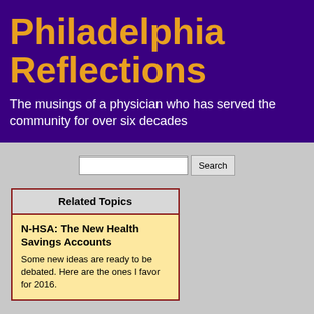Philadelphia Reflections
The musings of a physician who has served the community for over six decades
Related Topics
N-HSA: The New Health Savings Accounts
Some new ideas are ready to be debated. Here are the ones I favor for 2016.